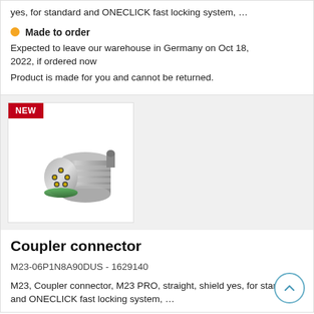yes, for standard and ONECLICK fast locking system, …
Made to order
Expected to leave our warehouse in Germany on Oct 18, 2022, if ordered now
Product is made for you and cannot be returned.
[Figure (photo): M23 coupler connector product photo, metallic cylindrical connector with gold pins and green seal ring, with NEW badge in red]
Coupler connector
M23-06P1N8A90DUS - 1629140
M23, Coupler connector, M23 PRO, straight, shield yes, for standard and ONECLICK fast locking system, …